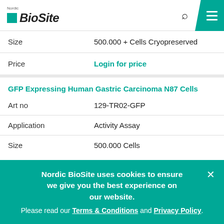Nordic BioSite
| Size | 500.000 + Cells Cryopreserved |
| Price | Login for price |
GFP Expressing Human Gastric Carcinoma N87 Cells
| Art no | 129-TR02-GFP |
| Application | Activity Assay |
| Size | 500.000 Cells |
Nordic BioSite uses cookies to ensure we give you the best experience on our website. Please read our Terms & Conditions and Privacy Policy.